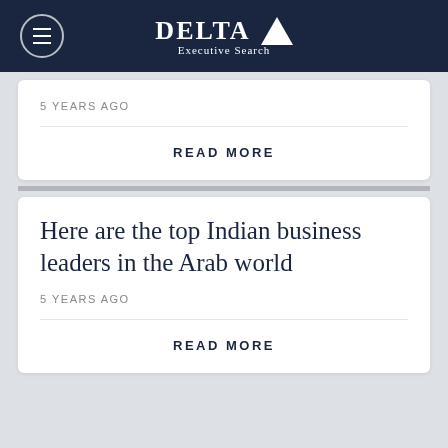DELTA Executive Search
5 YEARS AGO
READ MORE
Here are the top Indian business leaders in the Arab world
5 YEARS AGO
READ MORE